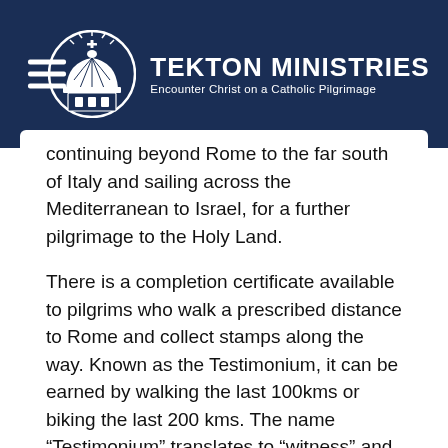[Figure (logo): Tekton Ministries logo with dome/cross circular emblem and tagline 'Encounter Christ on a Catholic Pilgrimage']
continuing beyond Rome to the far south of Italy and sailing across the Mediterranean to Israel, for a further pilgrimage to the Holy Land.
There is a completion certificate available to pilgrims who walk a prescribed distance to Rome and collect stamps along the way. Known as the Testimonium, it can be earned by walking the last 100kms or biking the last 200 kms. The name “Testimonium” translates to “witness” and serves as the witness that a pilgrim has traveled “ad limina Petri”... to the